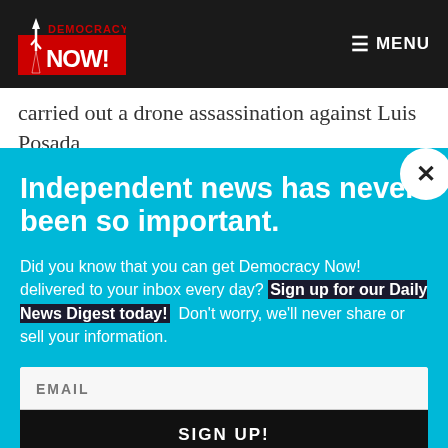[Figure (logo): Democracy Now! logo — red torch/Statue of Liberty icon with red 'DEMOCRACY NOW!' text]
≡ MENU
carried out a drone assassination against Luis Posada
Independent news has never been so important.
Did you know that you can get Democracy Now! delivered to your inbox every day? Sign up for our Daily News Digest today! Don't worry, we'll never share or sell your information.
EMAIL
SIGN UP!